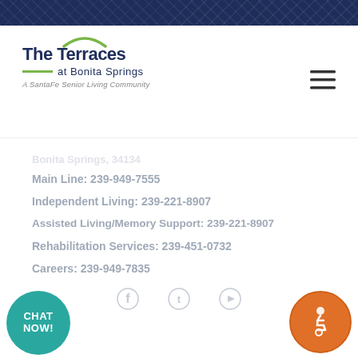[Figure (logo): The Terraces at Bonita Springs - A SantaFe Senior Living Community logo with green arc and navy blue text]
Bonita Springs, 34134
Main Line: 239-949-7555
Independent Living: 239-221-8907
Assisted Living/Memory Support: 239-221-8907
Rehabilitation Services: 239-451-0732
Careers: 239-949-7835
[Figure (infographic): Social media icons: Facebook, Twitter, YouTube in light gray]
[Figure (infographic): CHAT NOW! teal circular button at bottom left]
[Figure (infographic): Accessibility icon - wheelchair symbol in orange circle at bottom right]